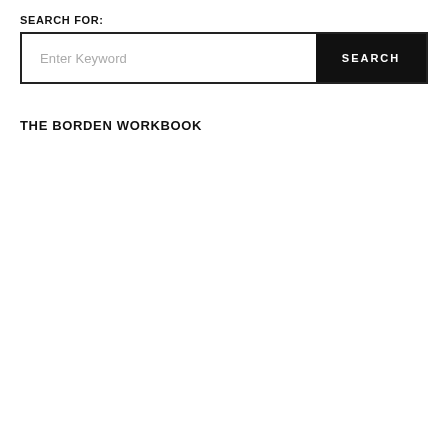SEARCH FOR:
[Figure (screenshot): Search bar with text input field placeholder 'Enter Keyword' and black SEARCH button]
THE BORDEN WORKBOOK